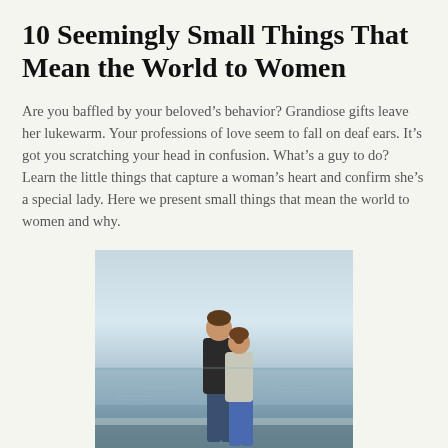10 Seemingly Small Things That Mean the World to Women
Are you baffled by your beloved’s behavior? Grandiose gifts leave her lukewarm. Your professions of love seem to fall on deaf ears. It’s got you scratching your head in confusion. What’s a guy to do? Learn the little things that capture a woman’s heart and confirm she’s a special lady. Here we present small things that mean the world to women and why.
[Figure (photo): A couple seen from behind, embracing each other while looking out at the ocean. The man has his arm around the woman.]